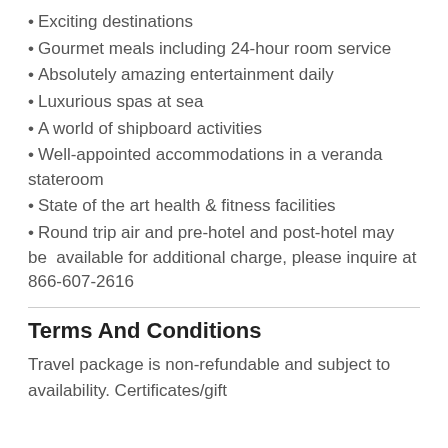Exciting destinations
Gourmet meals including 24-hour room service
Absolutely amazing entertainment daily
Luxurious spas at sea
A world of shipboard activities
Well-appointed accommodations in a veranda stateroom
State of the art health & fitness facilities
Round trip air and pre-hotel and post-hotel may be  available for additional charge, please inquire at 866-607-2616
Terms And Conditions
Travel package is non-refundable and subject to availability. Certificates/gift